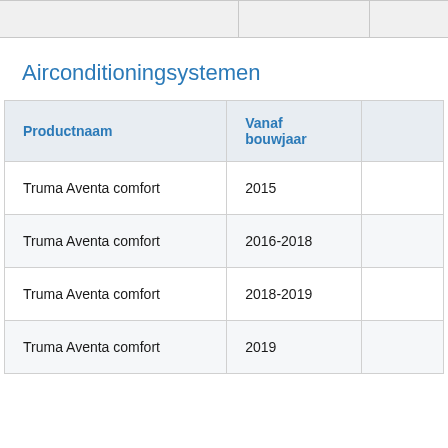| Productnaam | Vanaf bouwjaar |  |
| --- | --- | --- |
| Truma Aventa comfort | 2015 |  |
| Truma Aventa comfort | 2016-2018 |  |
| Truma Aventa comfort | 2018-2019 |  |
| Truma Aventa comfort | 2019 |  |
Airconditioningsystemen